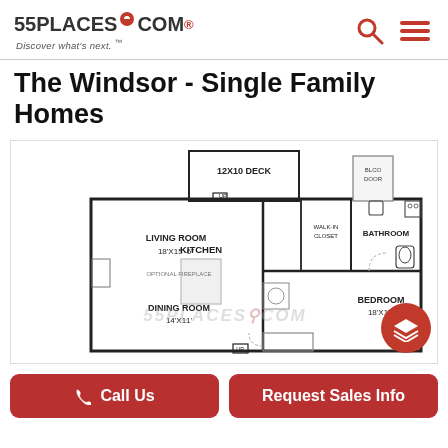55PLACES.COM — Discover what's next.™
The Windsor - Single Family Homes
[Figure (schematic): Floor plan showing Living Room 18x15'-6", Kitchen, 12x10 Deck, Walk-in Closet, Bathroom, Bedroom 18x13', Dining Room 14x11', optional fireplace, BLCO Door. Watermark: 55PLACES.COM]
Call Us | Request Sales Info